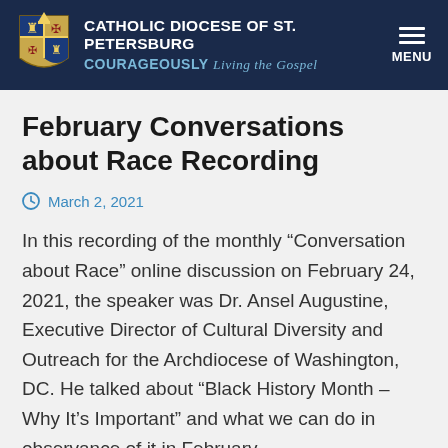CATHOLIC DIOCESE OF ST. PETERSBURG COURAGEOUSLY Living the Gospel
February Conversations about Race Recording
March 2, 2021
In this recording of the monthly “Conversation about Race” online discussion on February 24, 2021, the speaker was Dr. Ansel Augustine, Executive Director of Cultural Diversity and Outreach for the Archdiocese of Washington, DC. He talked about “Black History Month – Why It’s Important” and what we can do in observance of it in February.